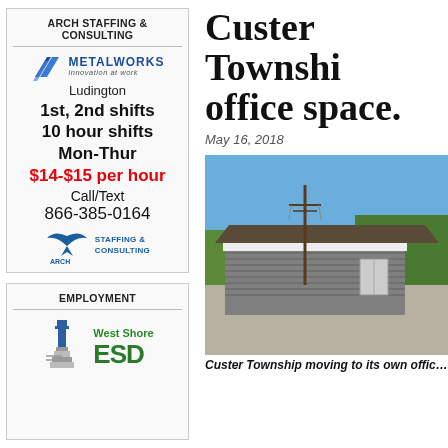ARCH STAFFING & CONSULTING
[Figure (illustration): MetalWorks Innovation at Work logo with blue parallelogram shapes]
Ludington
1st, 2nd shifts
10 hour shifts
Mon-Thur
$14-$15 per hour
Call/Text
866-385-0164
[Figure (logo): Arch Staffing & Consulting logo with eagle/bird emblem]
EMPLOYMENT
[Figure (logo): West Shore ESD logo with lighthouse tower]
Custer Township office space.
May 16, 2018
[Figure (photo): Photo of a gray building exterior with parking lot and blue sky, Custer Township offices]
Custer Township moving to its own offic…